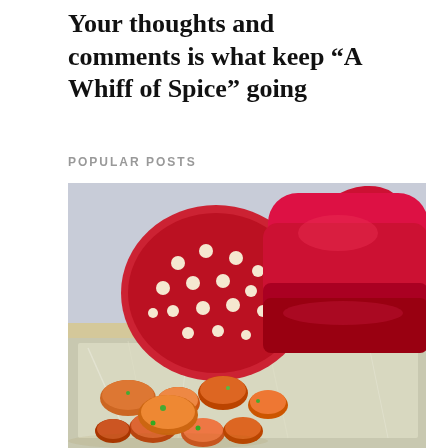Your thoughts and comments is what keep "A Whiff of Spice" going
POPULAR POSTS
[Figure (photo): A photo showing a red polka-dot oven mitt / pot holder alongside roasted spiced potato or cauliflower pieces on aluminum foil, viewed close-up from the side.]